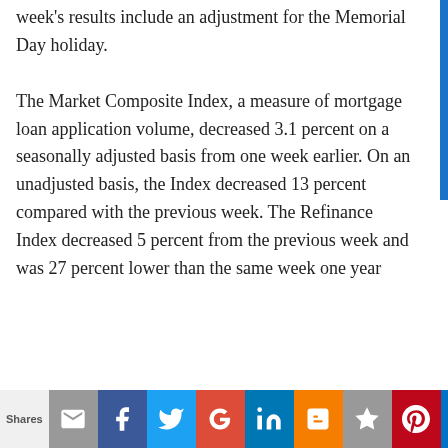week's results include an adjustment for the Memorial Day holiday. The Market Composite Index, a measure of mortgage loan application volume, decreased 3.1 percent on a seasonally adjusted basis from one week earlier. On an unadjusted basis, the Index decreased 13 percent compared with the previous week. The Refinance Index decreased 5 percent from the previous week and was 27 percent lower than the same week one year
Shares [email] [facebook] [twitter] [google+] [linkedin] [blogger] [star] [pinterest] [outlook] [gmail] [reddit]